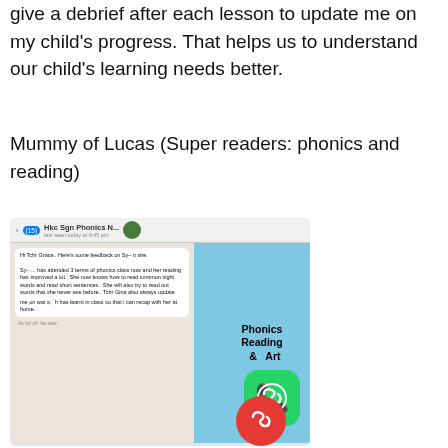give a debrief after each lesson to update me on my child's progress. That helps us to understand our child's learning needs better.
Mummy of Lucas (Super readers: phonics and reading)
[Figure (screenshot): Screenshot of a WhatsApp conversation showing a message from a parent giving feedback on their child's phonics progress. Alongside is a flyer panel reading 'Phonics Reading & Art'. Two WhatsApp call icons (green and red) appear in the lower right.]